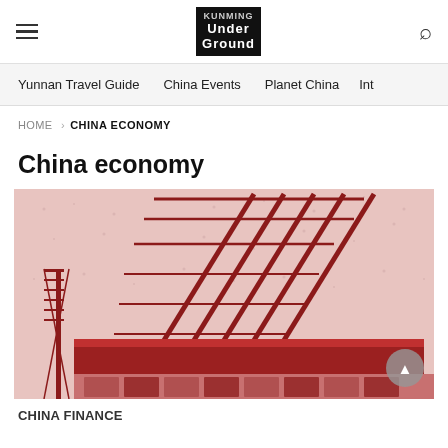Under Ground
Yunnan Travel Guide  China Events  Planet China  Int
HOME › CHINA ECONOMY
China economy
[Figure (photo): Red-toned industrial photo of large port cranes on a ship at a dock, duotone red and pink/white color treatment]
CHINA FINANCE